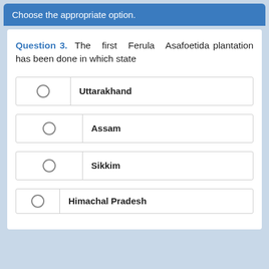Choose the appropriate option.
Question 3. The first Ferula Asafoetida plantation has been done in which state
Uttarakhand
Assam
Sikkim
Himachal Pradesh